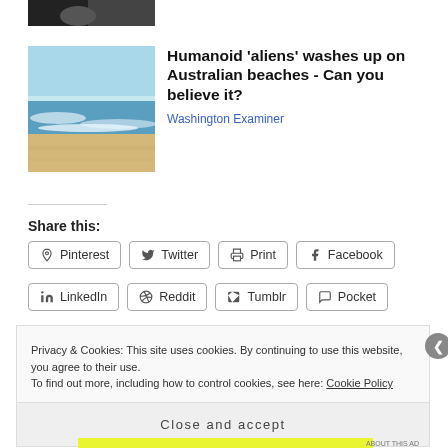[Figure (photo): Partial cropped photo at top, dark tones, appears to show hands]
[Figure (photo): Beach scene with waves and sandy shore under blue sky]
Humanoid 'aliens' washes up on Australian beaches - Can you believe it?
Washington Examiner
Share this:
Pinterest
Twitter
Print
Facebook
LinkedIn
Reddit
Tumblr
Pocket
Privacy & Cookies: This site uses cookies. By continuing to use this website, you agree to their use.
To find out more, including how to control cookies, see here: Cookie Policy
Close and accept